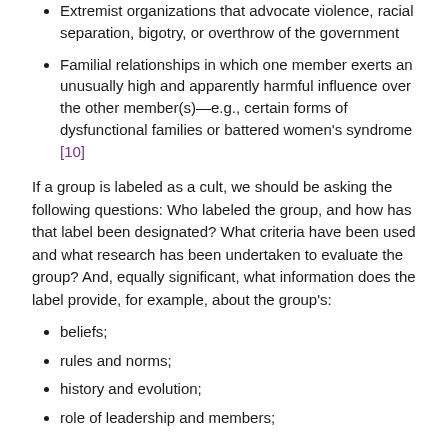Extremist organizations that advocate violence, racial separation, bigotry, or overthrow of the government
Familial relationships in which one member exerts an unusually high and apparently harmful influence over the other member(s)—e.g., certain forms of dysfunctional families or battered women's syndrome [10]
If a group is labeled as a cult, we should be asking the following questions: Who labeled the group, and how has that label been designated? What criteria have been used and what research has been undertaken to evaluate the group? And, equally significant, what information does the label provide, for example, about the group's:
beliefs;
rules and norms;
history and evolution;
role of leadership and members;